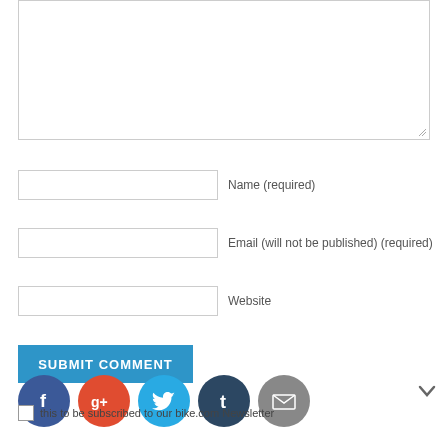[Figure (screenshot): Comment form textarea (empty, resizable)]
Name (required)
Email (will not be published) (required)
Website
SUBMIT COMMENT
[Figure (infographic): Social share buttons: Facebook, Google+, Twitter, Tumblr, Email]
this to be subscribed to our bike.com Newsletter